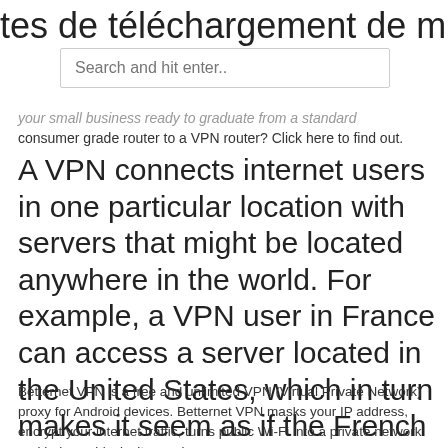tes de téléchargement de musique s
[Figure (screenshot): Search input field with placeholder text 'Search and hit enter..']
your small business ready to graduate from a standard consumer grade router to a VPN router? Click here to find out.
A VPN connects internet users in one particular location with servers that might be located anywhere in the world. For example, a VPN user in France can access a server located in the United States, which in turn makes it seem as if the French user is located in the US.
Betternet VPN is a free and unlimited VPN (Virtual Private Network) proxy for Android devices. Betternet VPN masks your IP address, encrypt your internet traffic, turns public Wi-Fi into a private network and helps unblock sites and apps on